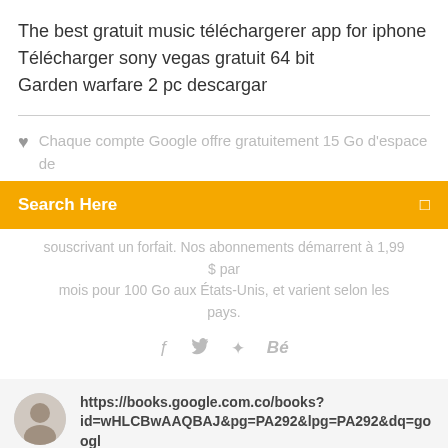The best gratuit music téléchargerer app for iphone
Télécharger sony vegas gratuit 64 bit
Garden warfare 2 pc descargar
Chaque compte Google offre gratuitement 15 Go d'espace de
Search Here
souscrivant un forfait. Nos abonnements démarrent à 1,99 $ par mois pour 100 Go aux États-Unis, et varient selon les pays.
[Figure (other): Social media icons: facebook, twitter, dribbble, behance]
https://books.google.com.co/books?id=wHLCBwAAQBAJ&pg=PA292&lpg=PA292&dq=googl
https://naezabid.ga/239599-google-drive-per-iphone-4s.h